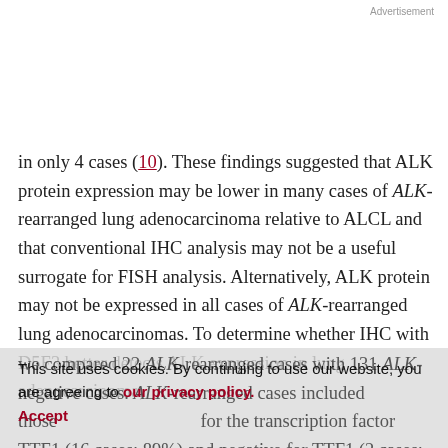Advertisement
in only 4 cases (10). These findings suggested that ALK protein expression may be lower in many cases of ALK-rearranged lung adenocarcinoma relative to ALCL and that conventional IHC analysis may not be a useful surrogate for FISH analysis. Alternatively, ALK protein may not be expressed in all cases of ALK-rearranged lung adenocarcinomas. To determine whether IHC with D5F3 better detects ALK expression in lung adenocarcinoma,
we compared 22 ALK-rearranged cases with 131 ALK-negative cases. ALK-rearranged cases included those ... for the transcription factor TTF1 (16 cases; 89%) and negative for TTF1 (2 cases; 11%). In all cases the
This site uses cookies. By continuing to use our website, you are agreeing to our privacy policy. Accept